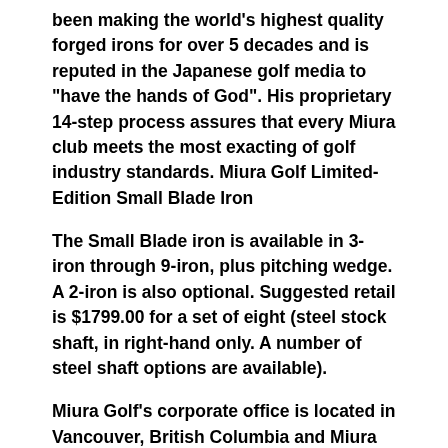been making the world's highest quality forged irons for over 5 decades and is reputed in the Japanese golf media to "have the hands of God". His proprietary 14-step process assures that every Miura club meets the most exacting of golf industry standards. Miura Golf Limited-Edition Small Blade Iron
The Small Blade iron is available in 3-iron through 9-iron, plus pitching wedge. A 2-iron is also optional. Suggested retail is $1799.00 for a set of eight (steel stock shaft, in right-hand only. A number of steel shaft options are available).
Miura Golf's corporate office is located in Vancouver, British Columbia and Miura Golf clubs are sold at the finest custom-fitting shops